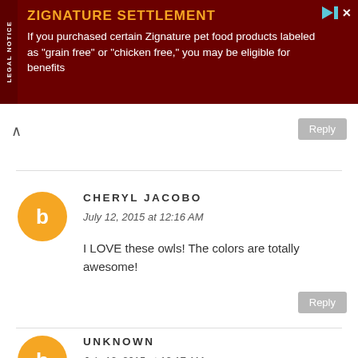[Figure (infographic): Ad banner: ZIGNATURE SETTLEMENT - If you purchased certain Zignature pet food products labeled as 'grain free' or 'chicken free,' you may be eligible for benefits]
↑
Reply
CHERYL JACOBO
July 12, 2015 at 12:16 AM
I LOVE these owls! The colors are totally awesome!
Reply
UNKNOWN
July 12, 2015 at 12:17 AM
I love your owls and hope to win one.